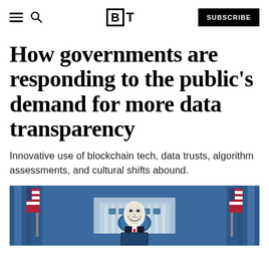BT — SUBSCRIBE
How governments are responding to the public's demand for more data transparency
Innovative use of blockchain tech, data trusts, algorithm assessments, and cultural shifts abound.
[Figure (photo): Person wearing a Guy Fawkes / Anonymous mask standing at a podium in front of a White House press briefing room backdrop with blue curtains and US flags]